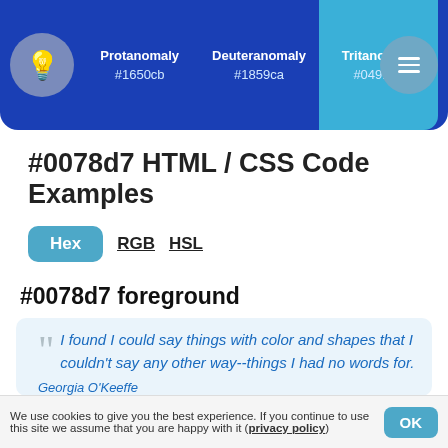trichromacy
[Figure (infographic): Navigation bar with three color anomaly columns: Protanomaly #1650cb, Deuteranomaly #1859ca, Tritanomaly #0491c6. Bulb icon circle on left, hamburger menu circle on right.]
#0078d7 HTML / CSS Code Examples
Hex  RGB  HSL
#0078d7 foreground
“ I found I could say things with color and shapes that I couldn't say any other way--things I had no words for.
Georgia O'Keeffe
We use cookies to give you the best experience. If you continue to use this site we assume that you are happy with it (privacy policy)